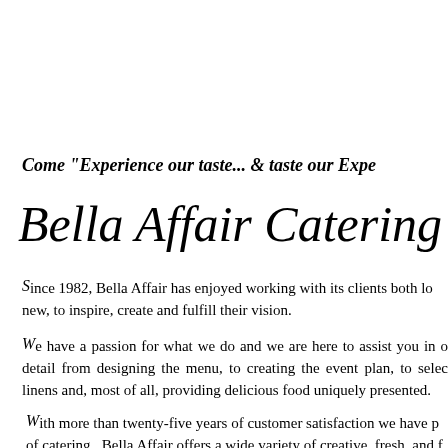Come "Experience our taste... & taste our Expe
Bella Affair Catering
Since 1982, Bella Affair has enjoyed working with its clients both lo new, to inspire, create and fulfill their vision.
We have a passion for what we do and we are here to assist you in o detail from designing the menu, to creating the event plan, to selec linens and, most of all, providing delicious food uniquely presented.
With more than twenty-five years of customer satisfaction we have p of catering. Bella Affair offers a wide variety of creative, fresh, and f cuisine. From beautiful buffet displays, to hand-folded napkins we m